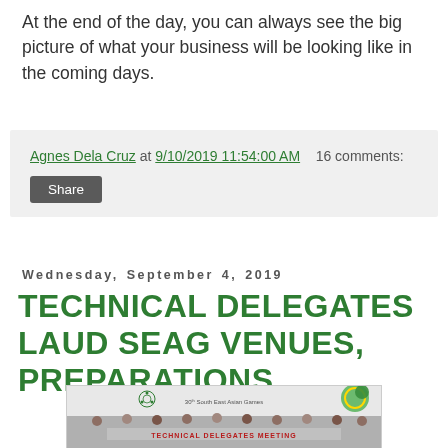At the end of the day, you can always see the big picture of what your business will be looking like in the coming days.
Agnes Dela Cruz at 9/10/2019 11:54:00 AM   16 comments:
Share
Wednesday, September 4, 2019
TECHNICAL DELEGATES LAUD SEAG VENUES, PREPARATIONS
[Figure (photo): Group photo at the 30th South East Asian Games Technical Delegates Meeting, with people standing in front of a banner showing '30th South East Asian Games' and SEAG logo, with a decorative green/gold circular emblem in the upper right corner.]